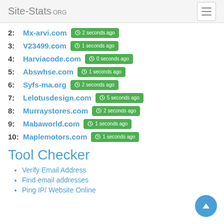Site-Stats.ORG
2: Mx-arvi.com — 2 seconds ago
3: V23499.com — 1 seconds ago
4: Harviacode.com — 0 seconds ago
5: Abswhse.com — 1 seconds ago
6: Syfs-ma.org — 2 seconds ago
7: Lelotusdesign.com — 5 seconds ago
8: Murraystores.com — 2 seconds ago
9: Mabaworld.com — 1 seconds ago
10: Maplemotors.com — 1 seconds ago
Tool Checker
Verify Email Address
Find email addresses
Ping IP/ Website Online